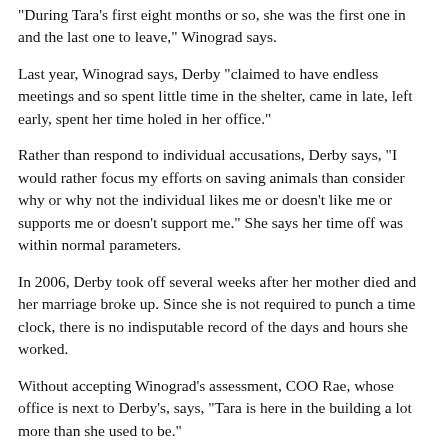"During Tara's first eight months or so, she was the first one in and the last one to leave," Winograd says.
Last year, Winograd says, Derby "claimed to have endless meetings and so spent little time in the shelter, came in late, left early, spent her time holed in her office."
Rather than respond to individual accusations, Derby says, "I would rather focus my efforts on saving animals than consider why or why not the individual likes me or doesn't like me or supports me or doesn't support me." She says her time off was within normal parameters.
In 2006, Derby took off several weeks after her mother died and her marriage broke up. Since she is not required to punch a time clock, there is no indisputable record of the days and hours she worked.
Without accepting Winograd's assessment, COO Rae, whose office is next to Derby's, says, "Tara is here in the building a lot more than she used to be."